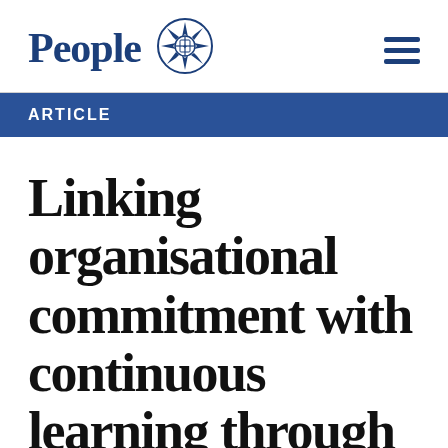People
ARTICLE
Linking organisational commitment with continuous learning through peripheral